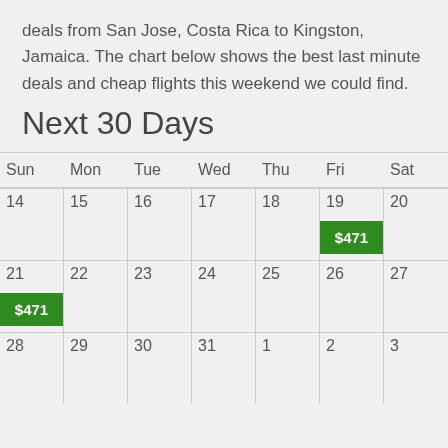deals from San Jose, Costa Rica to Kingston, Jamaica. The chart below shows the best last minute deals and cheap flights this weekend we could find.
Next 30 Days
| Sun | Mon | Tue | Wed | Thu | Fri | Sat |
| --- | --- | --- | --- | --- | --- | --- |
| 14 | 15 | 16 | 17 | 18 | 19 $471 | 20 |
| 21 $471 | 22 | 23 | 24 | 25 | 26 | 27 |
| 28 | 29 | 30 | 31 | 1 | 2 | 3 |